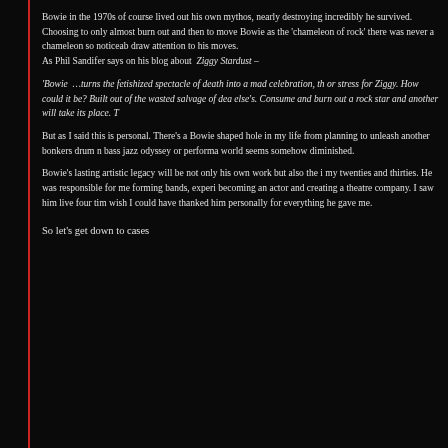Bowie in the 1970s of course lived out his own mythos, nearly destroying incredibly he survived. Choosing to only almost burn out and then to move Bowie as the 'chameleon of rock' there was never a chameleon so noticeab draw attention to his moves.
As Phil Sandifer says on his blog about Ziggy Stardust –
'Bowie …turns the fetishized spectacle of death into a mad celebration, th or stress for Ziggy. How could it be? Built out of the wasted salvage of dea else's. Consume and burn out a rock star and another will take its place. T
But as I said this is personal. There's a Bowie shaped hole in my life from planning to unleash another bonkers drum n bass jazz odyssey or performa world seems somehow diminished.
Bowie's lasting artistic legacy will be not only his own work but also the i my twenties and thirties. He was responsible for me forming bands, experi becoming an actor and creating a theatre company. I saw him live four tim wish I could have thanked him personally for everything he gave me.
So let's get down to cases